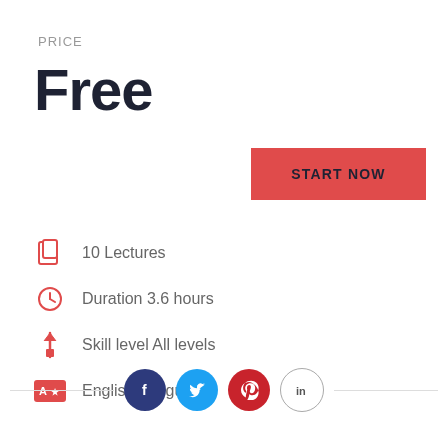PRICE
Free
START NOW
10 Lectures
Duration 3.6 hours
Skill level All levels
English Language
[Figure (infographic): Social sharing icons: Facebook, Twitter, Pinterest, LinkedIn arranged horizontally with a divider line]